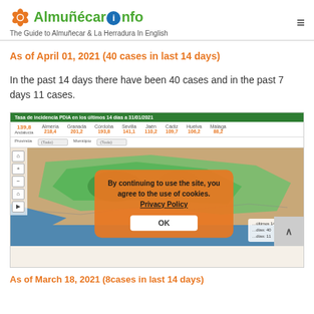Almuñécarinfo — The Guide to Almuñecar & La Herradura In English
As of April 01, 2021  (40 cases in last 14 days)
In the past 14 days there have been 40 cases and in the past 7 days 11 cases.
[Figure (screenshot): Screenshot of a Spanish public health website showing COVID-19 incidence rate map (Tasa de incidencia PDiA en los últimos 14 días a 31/01/2021) for Andalusia provinces with values: Andalucía 139.8, Almería 218.4, Granada 201.2, Córdoba 193.8, Sevilla 141.1, Jaén 110.2, Cádiz 109.7, Huelva 106.2, Málaga 88.2. A cookie consent overlay reads: By continuing to use the site, you agree to the use of cookies. Privacy Policy [OK]]
As of March 18, 2021 (8cases in last 14 days)